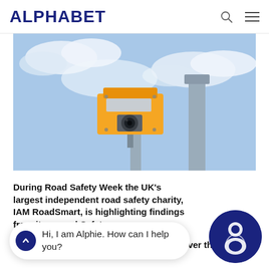ALPHABET
[Figure (photo): Close-up photo of a yellow speed camera mounted on a grey pole against a blue sky with clouds]
During Road Safety Week the UK's largest independent road safety charity, IAM RoadSmart, is highlighting findings from its annual Safety … [overlaid by chat widget] … travelling more than ten miles per hour over the limit …